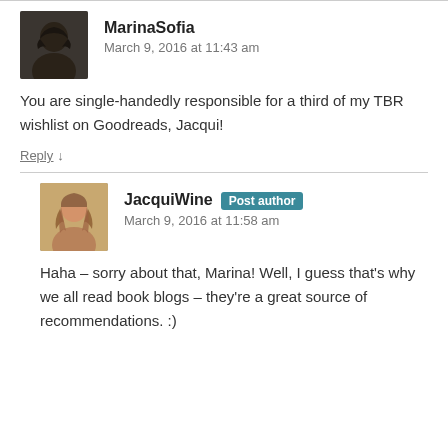[Figure (photo): Avatar photo of MarinaSofia showing a person with dark shoulder-length hair]
MarinaSofia
March 9, 2016 at 11:43 am
You are single-handedly responsible for a third of my TBR wishlist on Goodreads, Jacqui!
Reply
[Figure (photo): Avatar photo of JacquiWine showing a person with long wavy hair]
JacquiWine Post author
March 9, 2016 at 11:58 am
Haha – sorry about that, Marina! Well, I guess that's why we all read book blogs – they're a great source of recommendations. :)